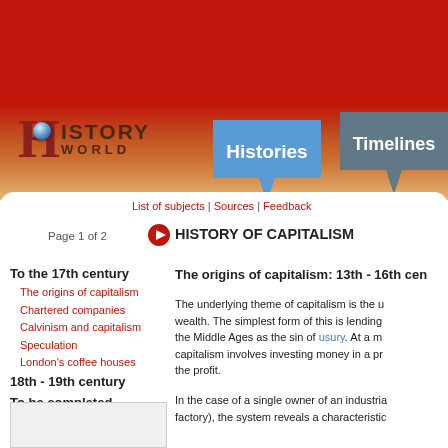History World — Histories | Timelines
List of subjects | Sources | Feedback
Page 1 of 2
HISTORY OF CAPITALISM
To the 17th century
The origins of capitalism
Chartered companies
Calvinism and capitalism
Speculation
London's coffee houses
18th - 19th century
To be completed
The origins of capitalism: 13th - 16th centuries
The underlying theme of capitalism is the use of wealth to create more wealth. The simplest form of this is lending money, condemned in the Middle Ages as the sin of usury. At a more complex level, capitalism involves investing money in a project and sharing the profit.
In the case of a single owner of an industrial enterprise (a factory), the system reveals a characteristic...